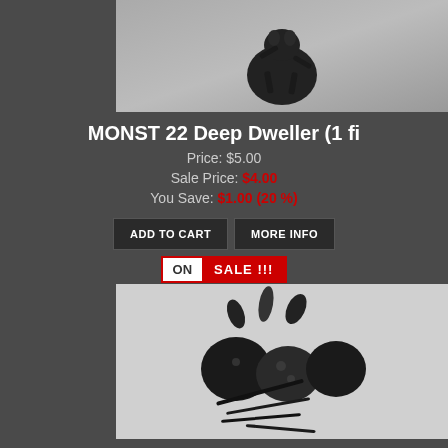[Figure (photo): Dark monster/creature figurine on silver background, top right corner, partially visible]
MONST 22 Deep Dweller (1 fi...
Price: $5.00
Sale Price: $4.00
You Save: $1.00 (20 %)
[Figure (other): ADD TO CART button]
[Figure (other): MORE INFO button]
[Figure (other): ON SALE !!! banner badge]
[Figure (photo): Dark fungi/mushroom shaped figurines set on white background]
MONST 25 Fungi (3 figure...
Price: $10.00
Sale Price: $8.00
You Save: $2.00 (20 %)
[Figure (other): ADD TO CART button]
[Figure (other): MORE INFO button]